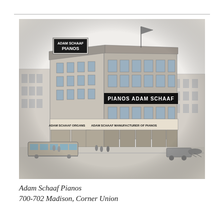[Figure (illustration): Black and white pencil/engraving illustration of a large multi-story commercial building on a street corner. The building has a sign reading 'ADAM SCHAAF PIANOS' on a billboard above the roofline, and banners/signs on the facade reading 'PIANOS ADAM SCHAAF' and 'ADAM SCHAAF ORGANS' and 'ADAM SCHAAF MANUFACTURER OF PIANOS'. A streetcar is visible on the left, and horse-drawn carriages are on the right. Pedestrians are on the sidewalk. The building has four stories with many windows.]
Adam Schaaf Pianos
700-702 Madison, Corner Union